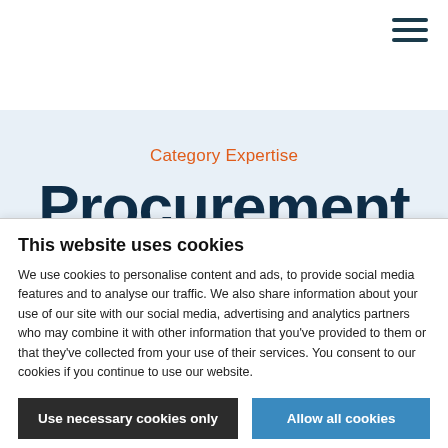[Figure (other): Hamburger menu icon (three horizontal lines) in top right corner of navigation header]
Category Expertise
Procurement Consulting
This website uses cookies
We use cookies to personalise content and ads, to provide social media features and to analyse our traffic. We also share information about your use of our site with our social media, advertising and analytics partners who may combine it with other information that you've provided to them or that they've collected from your use of their services. You consent to our cookies if you continue to use our website.
Use necessary cookies only
Allow all cookies